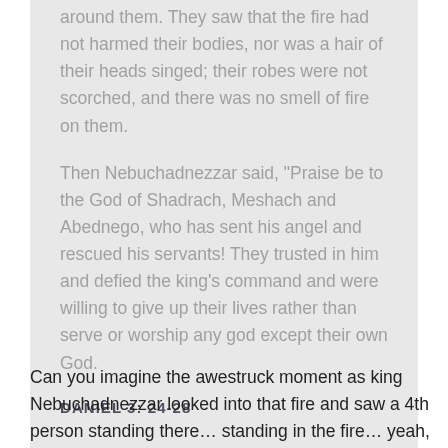around them. They saw that the fire had not harmed their bodies, nor was a hair of their heads singed; their robes were not scorched, and there was no smell of fire on them.
Then Nebuchadnezzar said, “Praise be to the God of Shadrach, Meshach and Abednego, who has sent his angel and rescued his servants! They trusted in him and defied the king’s command and were willing to give up their lives rather than serve or worship any god except their own God.
DANIEL 3: 24-28
Can you imagine the awestruck moment as king Nebuchadnezzar looked into that fire and saw a 4th person standing there… standing in the fire… yeah, in